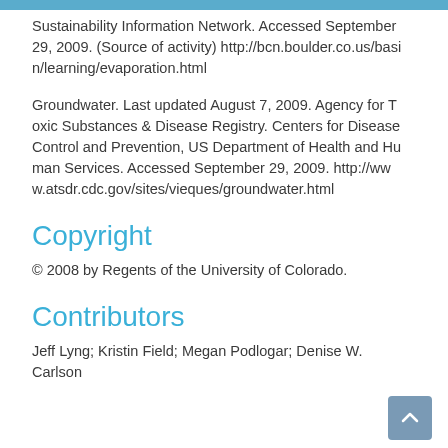Sustainability Information Network. Accessed September 29, 2009. (Source of activity) http://bcn.boulder.co.us/basin/learning/evaporation.html
Groundwater. Last updated August 7, 2009. Agency for Toxic Substances & Disease Registry. Centers for Disease Control and Prevention, US Department of Health and Human Services. Accessed September 29, 2009. http://www.atsdr.cdc.gov/sites/vieques/groundwater.html
Copyright
© 2008 by Regents of the University of Colorado.
Contributors
Jeff Lyng; Kristin Field; Megan Podlogar; Denise W. Carlson